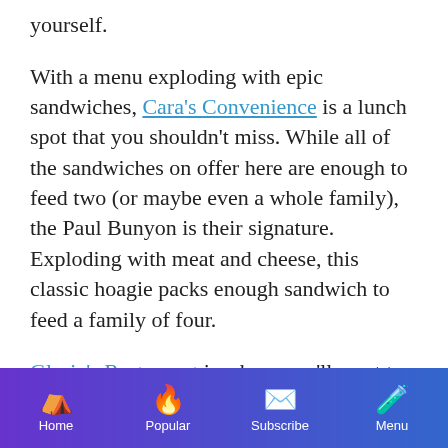yourself.
With a menu exploding with epic sandwiches, Cara's Convenience is a lunch spot that you shouldn't miss. While all of the sandwiches on offer here are enough to feed two (or maybe even a whole family), the Paul Bunyon is their signature. Exploding with meat and cheese, this classic hoagie packs enough sandwich to feed a family of four.
Gloria's Restaurant is where you'll want to
Home | Popular | Subscribe | Menu